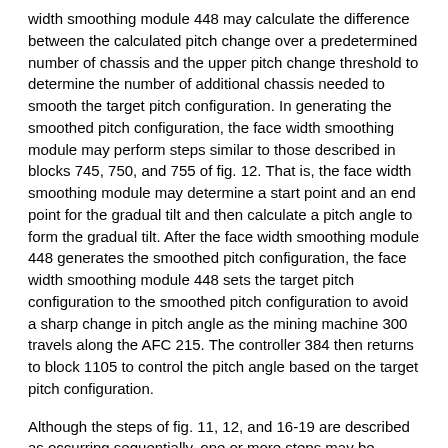width smoothing module 448 may calculate the difference between the calculated pitch change over a predetermined number of chassis and the upper pitch change threshold to determine the number of additional chassis needed to smooth the target pitch configuration. In generating the smoothed pitch configuration, the face width smoothing module may perform steps similar to those described in blocks 745, 750, and 755 of fig. 12. That is, the face width smoothing module may determine a start point and an end point for the gradual tilt and then calculate a pitch angle to form the gradual tilt. After the face width smoothing module 448 generates the smoothed pitch configuration, the face width smoothing module 448 sets the target pitch configuration to the smoothed pitch configuration to avoid a sharp change in pitch angle as the mining machine 300 travels along the AFC 215. The controller 384 then returns to block 1105 to control the pitch angle based on the target pitch configuration.
Although the steps of fig. 11, 12, and 16-19 are described as occurring sequentially, one or more steps may be performed concurrently. For example, some of the comparison steps of FIGS. 11, 12, and 16-19 may occur...